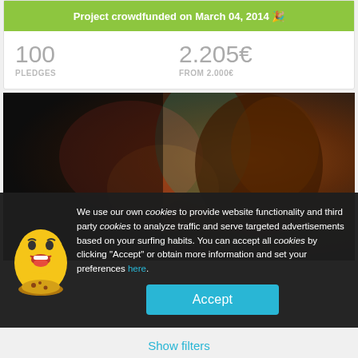Project crowdfunded on March 04, 2014 🎉
100 PLEDGES
2.205€ FROM 2.000€
[Figure (photo): Dark close-up photo of a person's face in profile against a very dark background with hints of colorful costume elements]
We use our own cookies to provide website functionality and third party cookies to analyze traffic and serve targeted advertisements based on your surfing habits. You can accept all cookies by clicking "Accept" or obtain more information and set your preferences here.
Accept
Show filters